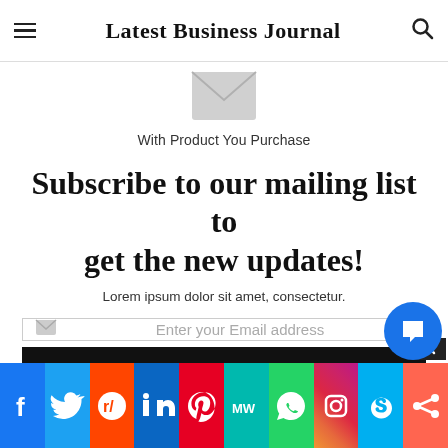Latest Business Journal
[Figure (illustration): Envelope/mail icon in light gray]
With Product You Purchase
Subscribe to our mailing list to get the new updates!
Lorem ipsum dolor sit amet, consectetur.
Enter your Email address
Subscribe
[Figure (illustration): Social media icons bar: Facebook, Twitter, Reddit, LinkedIn, Pinterest, MW, WhatsApp, Instagram, Skype, Share]